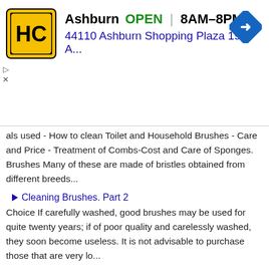[Figure (screenshot): Advertisement banner for HC store in Ashburn showing logo, OPEN status, hours 8AM-8PM, address 44110 Ashburn Shopping Plaza 190 A., and navigation arrow icon]
als used - How to clean Toilet and Household Brushes - Care and Price - Treatment of Combs-Cost and Care of Sponges. Brushes Many of these are made of bristles obtained from different breeds...
Cleaning Brushes. Part 2
Choice If carefully washed, good brushes may be used for quite twenty years; if of poor quality and carelessly washed, they soon become useless. It is not advisable to purchase those that are very lo...
Cleaning Brushes. Part 3
Prices Bath sponges, from 2/9 to 5/9 each; honeycomb, from 3 1/2d. upwards; fine cup sponges, from 1/9 to 3/6; Turkey sponges, from 6d. to 1/8. The sponge is brought alive from the sea. The living p...
Chapter XXIV. Boots
Preparation of Leather - Choice, care, and cleaning of Boots. First Process The hides are steeped for some days in pits containing lime-